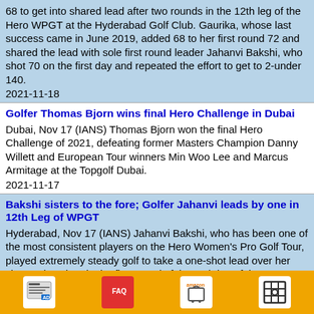68 to get into shared lead after two rounds in the 12th leg of the Hero WPGT at the Hyderabad Golf Club. Gaurika, whose last success came in June 2019, added 68 to her first round 72 and shared the lead with sole first round leader Jahanvi Bakshi, who shot 70 on the first day and repeated the effort to get to 2-under 140.
2021-11-18
Golfer Thomas Bjorn wins final Hero Challenge in Dubai
Dubai, Nov 17 (IANS) Thomas Bjorn won the final Hero Challenge of 2021, defeating former Masters Champion Danny Willett and European Tour winners Min Woo Lee and Marcus Armitage at the Topgolf Dubai.
2021-11-17
Bakshi sisters to the fore; Golfer Jahanvi leads by one in 12th Leg of WPGT
Hyderabad, Nov 17 (IANS) Jahanvi Bakshi, who has been one of the most consistent players on the Hero Women's Pro Golf Tour, played extremely steady golf to take a one-shot lead over her sister, Hitaashee in the first round of the 12th leg of the WPGT at the Hyderabad Golf Club.
2021-11-17
Golfer Amandeep Drall will look to maintain strong form in 12th leg of WPGT
[Figure (infographic): Bottom navigation bar with orange background containing four icons: AD (advertisement), FAQ (speech bubble), Amazon (shopping cart), and a grid/camera icon]